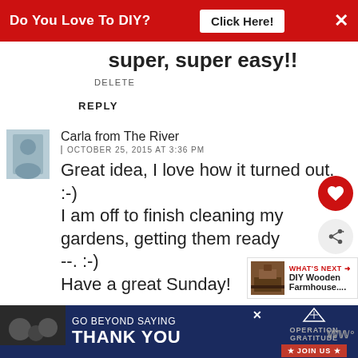Do You Love To DIY? Click Here! ✕
super, super easy!!
DELETE
REPLY
Carla from The River
OCTOBER 25, 2015 AT 3:36 PM
Great idea, I love how it turned out. :-)
I am off to finish cleaning my gardens, getting them ready --. :-)
Have a great Sunday!
[Figure (infographic): Operation Gratitude ad banner: GO BEYOND SAYING THANK YOU with JOIN US button]
[Figure (infographic): What's Next overlay: DIY Wooden Farmhouse...]